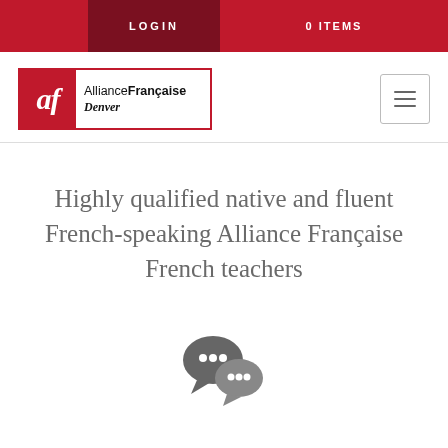LOGIN   0 ITEMS
[Figure (logo): Alliance Française Denver logo with red 'af' box and text]
Highly qualified native and fluent French-speaking Alliance Française French teachers
[Figure (illustration): Chat bubble / conversation icon in dark grey]